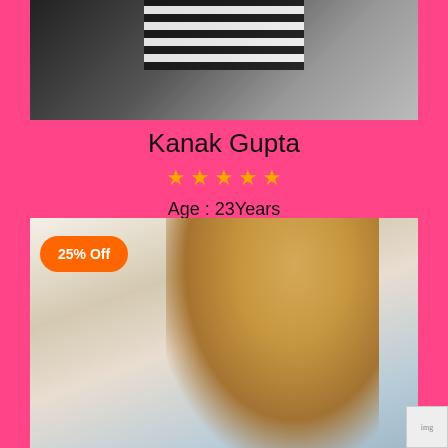[Figure (photo): Top portion of a person wearing a black and white striped top, photo card with pink background]
Kanak Gupta
★★★★★
Age : 23Years
[Figure (photo): Blonde woman in white top and blue denim jacket, looking over shoulder, with 25% Off badge]
25% Off